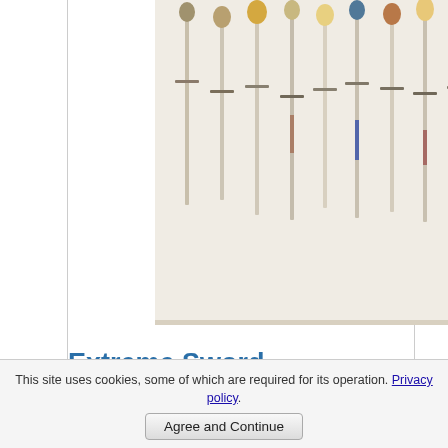[Figure (photo): A collection of swords displayed hanging on a wall, showing various styles of swords with different hilts and blades]
Extreme Sword Collections: The 'It Starts With One' SBG Collection Gallery
[Figure (photo): Two men working at a forge or smithing station with sparks visible, appearing to be blacksmiths crafting a sword]
This site uses cookies, some of which are required for its operation. Privacy policy
Agree and Continue